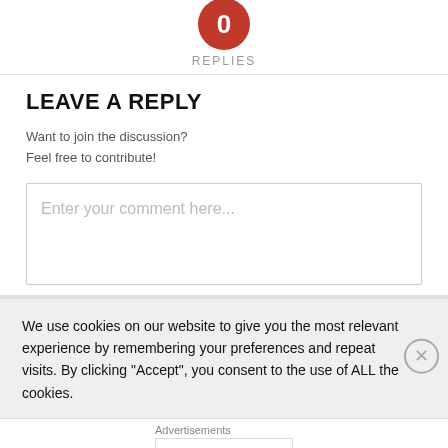[Figure (other): Red circle badge showing '0 REPLIES']
LEAVE A REPLY
Want to join the discussion?
Feel free to contribute!
Enter your comment here...
We use cookies on our website to give you the most relevant experience by remembering your preferences and repeat visits. By clicking "Accept", you consent to the use of ALL the cookies.
Advertisements
[Figure (logo): Automattic logo with tagline: Build a better web and a better world.]